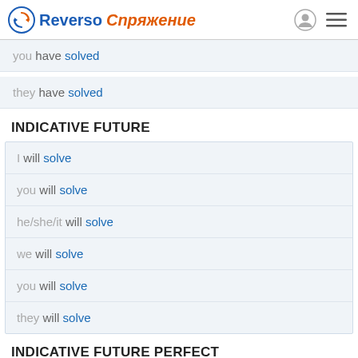Reverso Спряжение
you have solved
they have solved
INDICATIVE FUTURE
I will solve
you will solve
he/she/it will solve
we will solve
you will solve
they will solve
INDICATIVE FUTURE PERFECT